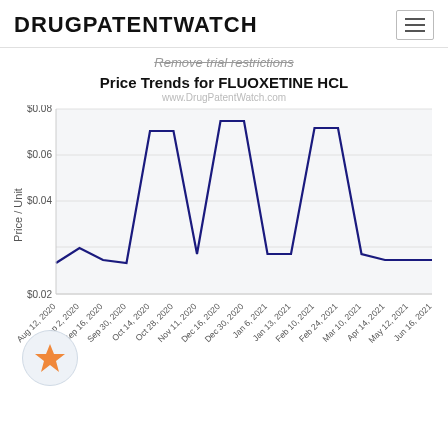DRUGPATENTWATCH
Remove trial restrictions
[Figure (line-chart): Price Trends for FLUOXETINE HCL]